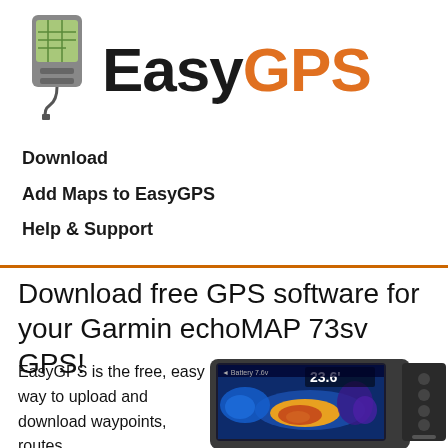[Figure (logo): EasyGPS logo with GPS device icon on the left and bold text 'Easy' in black and 'GPS' in orange]
Download
Add Maps to EasyGPS
Help & Support
Download free GPS software for your Garmin echoMAP 73sv GPS!
EasyGPS is the free, easy way to upload and download waypoints, routes,
[Figure (photo): Garmin echoMAP 73sv GPS device showing a chartplotter screen with depth reading 23.6 and colorful sonar display]